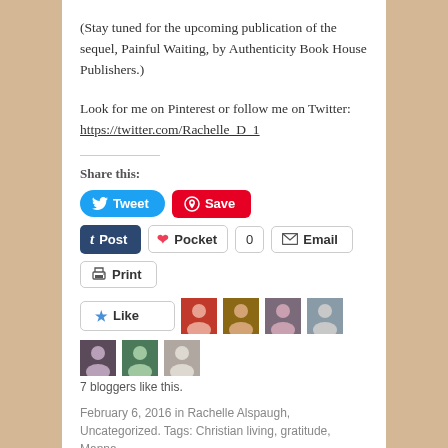(Stay tuned for the upcoming publication of the sequel, Painful Waiting, by Authenticity Book House Publishers.)
Look for me on Pinterest or follow me on Twitter: https://twitter.com/Rachelle_D_1
Share this:
[Figure (screenshot): Social sharing buttons: Tweet, Save (Pinterest), Post (Tumblr), Pocket with count 0, Email, Print]
[Figure (screenshot): Like button with star icon and 7 blogger avatars]
7 bloggers like this.
February 6, 2016 in Rachelle Alspaugh, Uncategorized. Tags: Christian living, gratitude, Manna